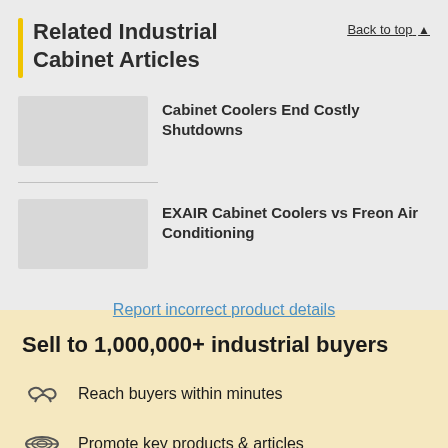Related Industrial Cabinet Articles
Back to top
Cabinet Coolers End Costly Shutdowns
EXAIR Cabinet Coolers vs Freon Air Conditioning
Report incorrect product details
Sell to 1,000,000+ industrial buyers
Reach buyers within minutes
Promote key products & articles